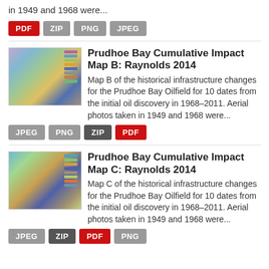in 1949 and 1968 were...
PDF ZIP PNG JPEG
Prudhoe Bay Cumulative Impact Map B: Raynolds 2014
Map B of the historical infrastructure changes for the Prudhoe Bay Oilfield for 10 dates from the initial oil discovery in 1968–2011. Aerial photos taken in 1949 and 1968 were...
JPEG PNG ZIP PDF
Prudhoe Bay Cumulative Impact Map C: Raynolds 2014
Map C of the historical infrastructure changes for the Prudhoe Bay Oilfield for 10 dates from the initial oil discovery in 1968–2011. Aerial photos taken in 1949 and 1968 were...
JPEG ZIP PDF PNG